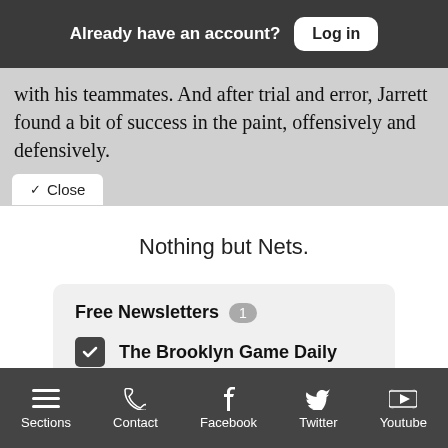Already have an account? Log in
with his teammates. And after trial and error, Jarrett found a bit of success in the paint, offensively and defensively.
Close
Nothing but Nets.
Free Newsletters 1
The Brooklyn Game Daily
Enter your email
Sections  Contact  Facebook  Twitter  Youtube